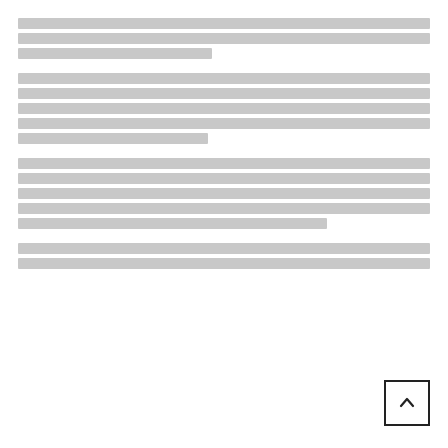[redacted paragraph 1]
[redacted paragraph 2]
[redacted paragraph 3]
[redacted paragraph 4 - partial]